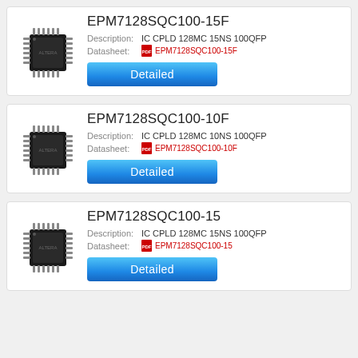EPM7128SQC100-15F
Description: IC CPLD 128MC 15NS 100QFP
Datasheet: EPM7128SQC100-15F
[Figure (photo): IC chip photo - QFP package black chip]
EPM7128SQC100-10F
Description: IC CPLD 128MC 10NS 100QFP
Datasheet: EPM7128SQC100-10F
[Figure (photo): IC chip photo - QFP package black chip]
EPM7128SQC100-15
Description: IC CPLD 128MC 15NS 100QFP
Datasheet: EPM7128SQC100-15
[Figure (photo): IC chip photo - QFP package black chip]